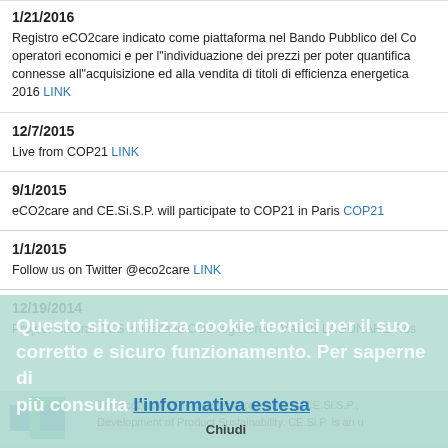1/21/2016 — Registro eCO2care indicato come piattaforma nel Bando Pubblico del Co operatori economici e per l'individuazione dei prezzi per poter quantifica connesse all'acquisizione ed alla vendita di titoli di efficienza energetica 2016 LINK
12/7/2015 — Live from COP21 LINK
9/1/2015 — eCO2care and CE.Si.S.P. will participate to COP21 in Paris COP21
1/1/2015 — Follow us on Twitter @eco2care LINK
12/19/2014 — Project Natural CCS in wetland CO2 registered "VALLE LAGUNARE Ros
Questo sito utilizza cookie tecnici per il suo corretto e sicuro funzionamento. Per saperne di più consulta l'informativa estesa
Chiudi
The eco2care VER register is operated by CE.Si.S.P.,
Development of Product Sustainability. CE.Si.P. is an u